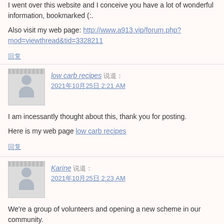I went over this website and I conceive you have a lot of wonderful information, bookmarked (:.
Also visit my web page: http://www.a913.vip/forum.php?mod=viewthread&tid=3328211
回复
low carb recipes 说道: 2021年10月25日 2:21 AM
I am incessantly thought about this, thank you for posting.
Here is my web page low carb recipes
回复
Karine 说道: 2021年10月25日 2:23 AM
We're a group of volunteers and opening a new scheme in our community. Your site offered us with valuable info to work on. You have done an impressive job and our whole community will be grateful to you.